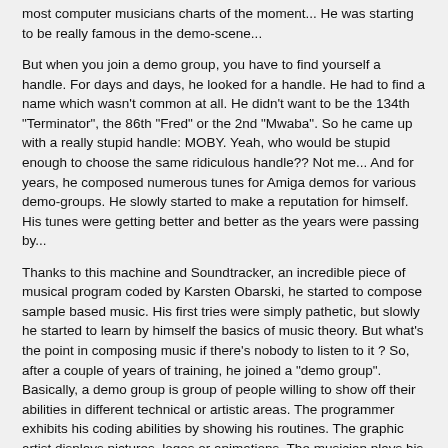most computer musicians charts of the moment... He was starting to be really famous in the demo-scene...
But when you join a demo group, you have to find yourself a handle. For days and days, he looked for a handle. He had to find a name which wasn't common at all. He didn't want to be the 134th "Terminator", the 86th "Fred" or the 2nd "Mwaba". So he came up with a really stupid handle: MOBY. Yeah, who would be stupid enough to choose the same ridiculous handle?? Not me... And for years, he composed numerous tunes for Amiga demos for various demo-groups. He slowly started to make a reputation for himself. His tunes were getting better and better as the years were passing by...
Thanks to this machine and Soundtracker, an incredible piece of musical program coded by Karsten Obarski, he started to compose sample based music. His first tries were simply pathetic, but slowly he started to learn by himself the basics of music theory. But what's the point in composing music if there's nobody to listen to it ? So, after a couple of years of training, he joined a "demo group". Basically, a demo group is group of people willing to show off their abilities in different technical or artistic areas. The programmer exhibits his coding abilities by showing his routines. The graphic artist displays pictures, logos or animations. The musician plays his tunes. Put all these things together and you get a kind of music video, played on a computer... This is what we called a "demo".
In 1992, he bought a crap bass from a friend, because he wanted to give it a try... and he fell in love with this instrument... slapping day and night...